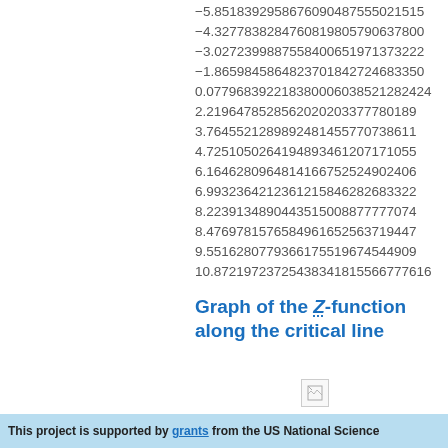-5.8518392958676090487555021515...
-4.3277838284760819805790637800...
-3.0272399887558400651971373222...
-1.8659845864823701842724683350...
0.07796839221838000603852128242...
2.2196478528562020203377780189...
3.7645521289892481455770738611...
4.7251050264194893461207171055...
6.1646280964814166752524902406...
6.9932364212361215846282683322...
8.2239134890443515008877777074...
8.4769781576584961652563719447...
9.5516280779366175519674544909...
10.872197237254383418155677616...
Graph of the Z-function along the critical line
[Figure (other): Broken image placeholder for graph of Z-function along the critical line]
This project is supported by grants from the US National Science...